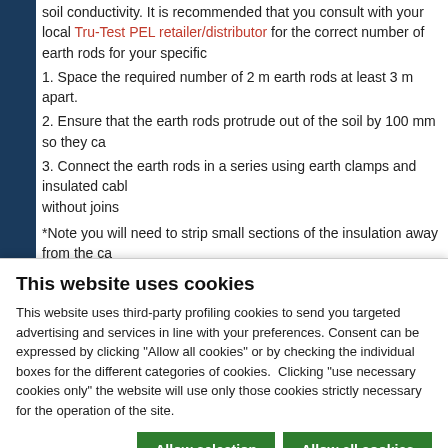soil conductivity. It is recommended that you consult with your local Tru-Test PEL retailer/distributor for the correct number of earth rods for your specific
1. Space the required number of 2 m earth rods at least 3 m apart.
2. Ensure that the earth rods protrude out of the soil by 100 mm so they ca
3. Connect the earth rods in a series using earth clamps and insulated cabl without joins
*Note you will need to strip small sections of the insulation away from the ca clamp/earth rod.
Step 4: Test your earth system
Test your earth system to ensure it's working properly. To do this:
This website uses cookies
This website uses third-party profiling cookies to send you targeted advertising and services in line with your preferences. Consent can be expressed by clicking "Allow all cookies" or by checking the individual boxes for the different categories of cookies. Clicking "use necessary cookies only" the website will use only those cookies strictly necessary for the operation of the site.
Allow selection | Allow all cookies
Necessary | Preferences | Statistics | Marketing | Show details